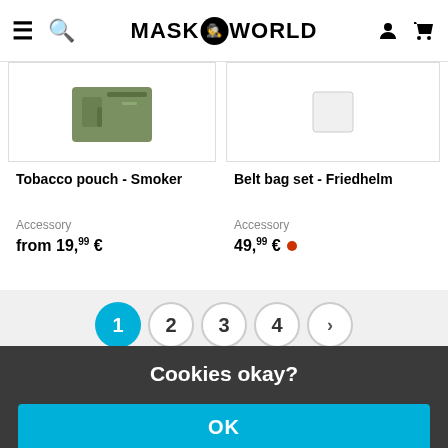MASKWORLD
[Figure (photo): Product image of Tobacco pouch - Smoker (green/military style pouch)]
Tobacco pouch - Smoker
Accessory
from 19,99 €
[Figure (photo): Product image of Belt bag set - Friedhelm (white/empty background)]
Belt bag set - Friedhelm
Accessory
49,99 €
1 2 3 4 ›
Cookies okay?
Together with our partners, we require your consent (click on "OK") for individual data uses in order to store and retrieve information (e.g. browser information, user ID, IP address) and to process it or have it processed. The data usage is for personalised functionalities, content and ads
OK